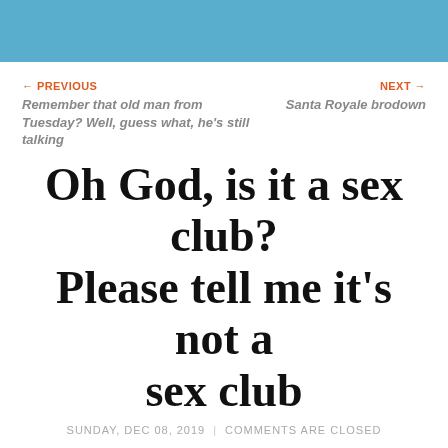← PREVIOUS
Remember that old man from Tuesday? Well, guess what, he's still talking
NEXT →
Santa Royale brodown
Oh God, is it a sex club? Please tell me it's not a sex club
SUNDAY, DEC 08, 2019  |  COMMENTS ARE CLOSED
Dennis the Menace, 12/8/19
[Figure (illustration): Dennis the Menace comic strip panel showing the title 'The Night is Young' on the left panel with a blue city skyline, and an older couple on the right panel with speech bubble 'A NIGHT ON THE TOWN WILL BE FUN.']